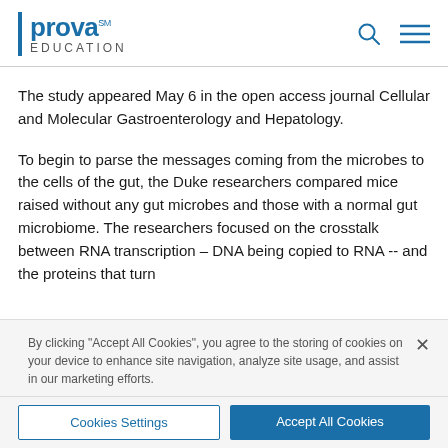Prova Education
The study appeared May 6 in the open access journal Cellular and Molecular Gastroenterology and Hepatology.
To begin to parse the messages coming from the microbes to the cells of the gut, the Duke researchers compared mice raised without any gut microbes and those with a normal gut microbiome. The researchers focused on the crosstalk between RNA transcription – DNA being copied to RNA -- and the proteins that turn
By clicking "Accept All Cookies", you agree to the storing of cookies on your device to enhance site navigation, analyze site usage, and assist in our marketing efforts.
Cookies Settings
Accept All Cookies